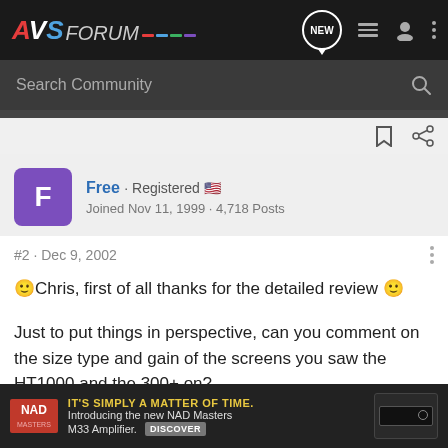AVSForum - navigation bar with logo, search, and icons
Free · Registered
Joined Nov 11, 1999 · 4,718 Posts
#2 · Dec 9, 2002
🙂Chris, first of all thanks for the detailed review 🙂
Just to put things in perspective, can you comment on the size type and gain of the screens you saw the HT1000 and the 300+ on?
[Figure (screenshot): NAD advertisement banner: IT'S SIMPLY A MATTER OF TIME. Introducing the new NAD Masters M33 Amplifier. DISCOVER]